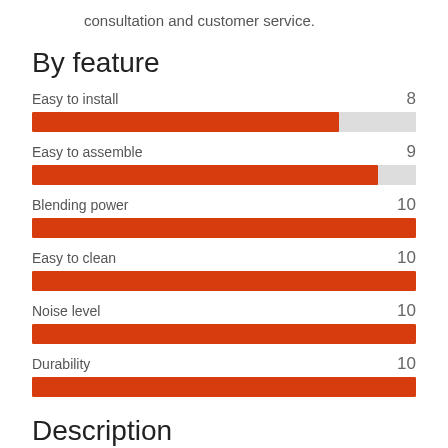consultation and customer service.
By feature
[Figure (bar-chart): By feature]
Description
Color:Upgrade Juicer